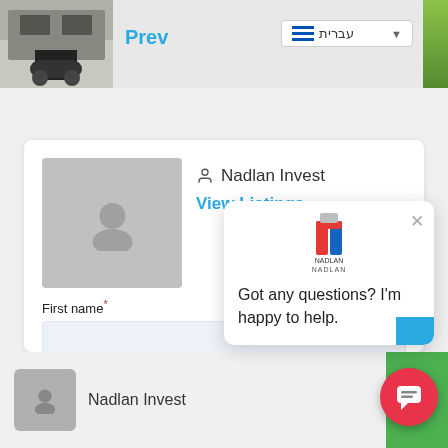[Figure (screenshot): Top navigation bar with car garage image on left, Prev link, Hebrew language selector, and green lawn image on right]
Prev
עברית
[Figure (screenshot): Agent profile card with avatar placeholder, Nadlan Invest name, View Listings link, and contact form fields for First name, Last name, and Email]
Nadlan Invest
View Listings
First name*
Last name*
Email*
[Figure (screenshot): Chat popup with Nadlan logo, X close button, and message 'Got any questions? I'm happy to help.']
Got any questions? I'm happy to help.
Nadlan Invest
[Figure (screenshot): Red circular chat bubble button in bottom right corner]